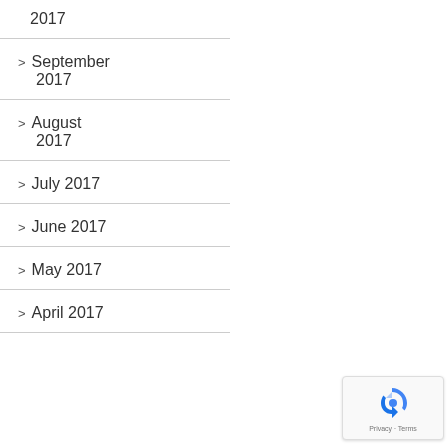2017
> September 2017
> August 2017
> July 2017
> June 2017
> May 2017
> April 2017
[Figure (logo): reCAPTCHA badge with privacy and terms links]